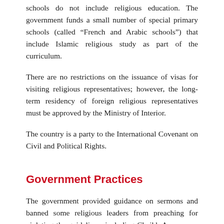schools do not include religious education. The government funds a small number of special primary schools (called “French and Arabic schools”) that include Islamic religious study as part of the curriculum.
There are no restrictions on the issuance of visas for visiting religious representatives; however, the long-term residency of foreign religious representatives must be approved by the Ministry of Interior.
The country is a party to the International Covenant on Civil and Political Rights.
Government Practices
The government provided guidance on sermons and banned some religious leaders from preaching for violating the guidelines, including Cheikh Assoumana Mahamadou from the Dan Gao neighborhood in